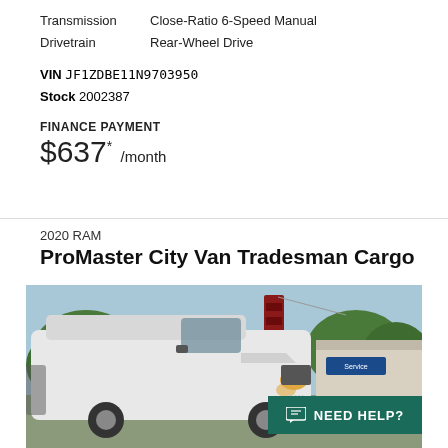Transmission   Close-Ratio 6-Speed Manual
Drivetrain     Rear-Wheel Drive
VIN JF1ZDBE11N9703950
Stock 2002387
FINANCE PAYMENT
$637* /month
2020 RAM
ProMaster City Van Tradesman Cargo
[Figure (photo): Front three-quarter view of a white 2020 RAM ProMaster City Van Tradesman Cargo parked at a dealership lot with trees and a service building in the background. A 'NEED HELP?' chat button overlay is visible in the bottom right.]